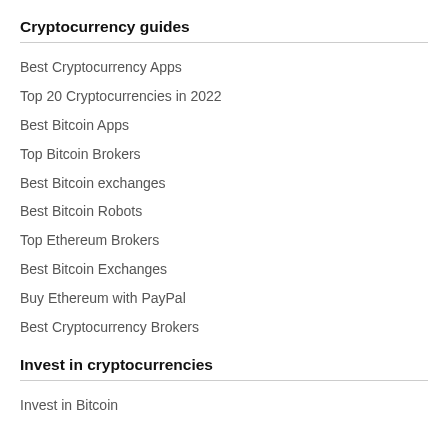Cryptocurrency guides
Best Cryptocurrency Apps
Top 20 Cryptocurrencies in 2022
Best Bitcoin Apps
Top Bitcoin Brokers
Best Bitcoin exchanges
Best Bitcoin Robots
Top Ethereum Brokers
Best Bitcoin Exchanges
Buy Ethereum with PayPal
Best Cryptocurrency Brokers
Invest in cryptocurrencies
Invest in Bitcoin